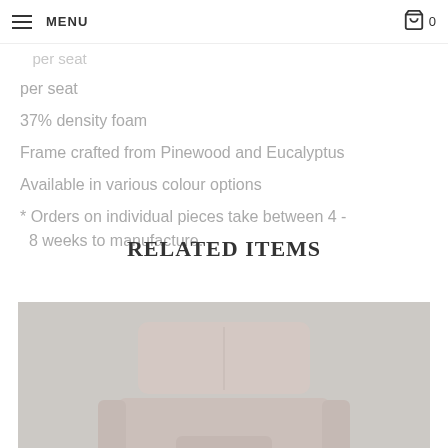MENU | 0
per seat
37% density foam
Frame crafted from Pinewood and Eucalyptus
Available in various colour options
* Orders on individual pieces take between 4 - 8 weeks to manufacture.
RELATED ITEMS
[Figure (photo): Overhead view of a light pink/beige upholstered armchair or sofa piece against a light gray concrete background]